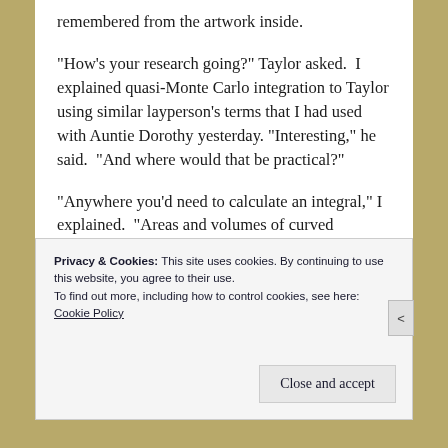remembered from the artwork inside.
“How’s your research going?” Taylor asked.  I explained quasi-Monte Carlo integration to Taylor using similar layperson’s terms that I had used with Auntie Dorothy yesterday. “Interesting,” he said.  “And where would that be practical?”
“Anywhere you’d need to calculate an integral,” I explained.  “Areas and volumes of curved
Privacy & Cookies: This site uses cookies. By continuing to use this website, you agree to their use.
To find out more, including how to control cookies, see here:
Cookie Policy
Close and accept